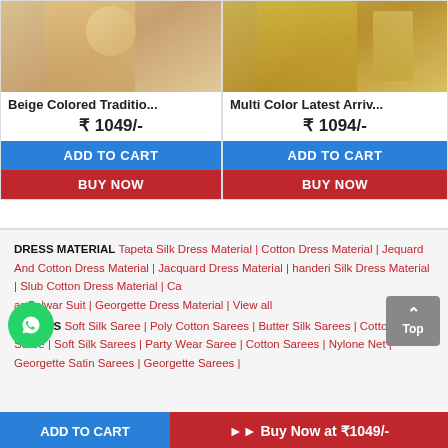[Figure (photo): Beige colored traditional dress/saree product image]
Beige Colored Traditio...
₹ 1049/-
ADD TO CART
BUY NOW
[Figure (photo): Multi color latest arrival saree product image]
Multi Color Latest Arriv...
₹ 1094/-
ADD TO CART
BUY NOW
DRESS MATERIAL   Tapeta Silk Dress Material | Cotton Dress Material | Jequard And Cotton Dress Material | Jacquard Dress Material | Chanderi Silk Dress Material | Slub Cotton Dress Material | Ca... ar Salwar Suit | Georgette Dress Material | View all
SAREES   Soft Silk Saree | Poly Cotton Sarees | Butter Silk Sarees | Cotton Silk Saree | Soft Silk Sarees | Party Wear Saree | Cotton Sarees | Nylone Net | Georgette Satin Sarees | Georgette Sarees |
ADD TO CART
▶▶ Buy Now at ₹1049/-